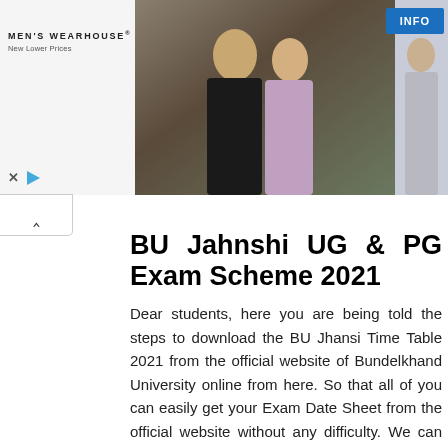[Figure (photo): Men's Wearhouse advertisement banner showing a couple in formal wear and a single man in a suit, with an INFO button]
BU Jahnshi UG & PG Exam Scheme 2021
Dear students, here you are being told the steps to download the BU Jhansi Time Table 2021 from the official website of Bundelkhand University online from here. So that all of you can easily get your Exam Date Sheet from the official website without any difficulty. We can provide all the students from here the date sheet information of all the examinations of